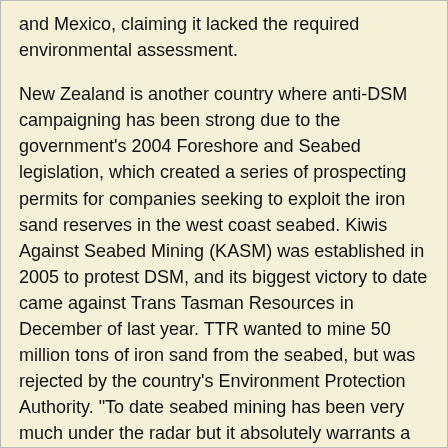and Mexico, claiming it lacked the required environmental assessment.
New Zealand is another country where anti-DSM campaigning has been strong due to the government's 2004 Foreshore and Seabed legislation, which created a series of prospecting permits for companies seeking to exploit the iron sand reserves in the west coast seabed. Kiwis Against Seabed Mining (KASM) was established in 2005 to protest DSM, and its biggest victory to date came against Trans Tasman Resources in December of last year. TTR wanted to mine 50 million tons of iron sand from the seabed, but was rejected by the country's Environment Protection Authority. "To date seabed mining has been very much under the radar but it absolutely warrants a lot more attention," said Phil McCabe, chairman of KASM. "Greenpeace has stated that seabed mining has the potential to have the largest areal impact on the planet of any human activity - it's akin to deforestation on a massive scale, and we need to turn people on to what it is."
Yet again, capitalism is willing to sacrifice unique life-